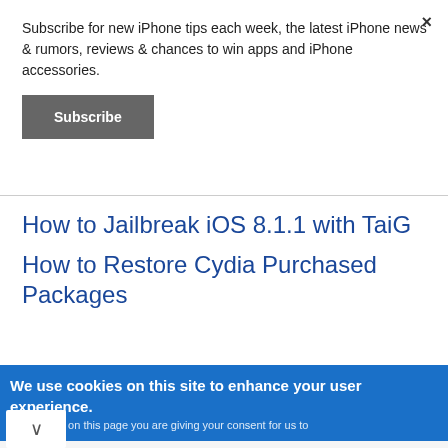Subscribe for new iPhone tips each week, the latest iPhone news & rumors, reviews & chances to win apps and iPhone accessories.
Subscribe
×
How to Jailbreak iOS 8.1.1 with TaiG
How to Restore Cydia Purchased Packages
We use cookies on this site to enhance your user experience.
ing any link on this page you are giving your consent for us to
✓ Curbside pickup  ✓ Delivery
See Cars Your Budget Will Love